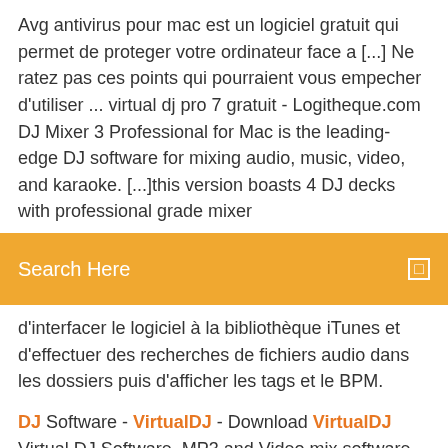Avg antivirus pour mac est un logiciel gratuit qui permet de proteger votre ordinateur face a [...] Ne ratez pas ces points qui pourraient vous empecher d'utiliser ... virtual dj pro 7 gratuit - Logitheque.com DJ Mixer 3 Professional for Mac is the leading-edge DJ software for mixing audio, music, video, and karaoke. [...]this version boasts 4 DJ decks with professional grade mixer
Search Here
d'interfacer le logiciel à la bibliothèque iTunes et d'effectuer des recherches de fichiers audio dans les dossiers puis d'afficher les tags et le BPM.
DJ Software - VirtualDJ - Download VirtualDJ Virtual DJ Software, MP3 and Video mix software. VirtualDJ provides instant BPM beat matching, synchronized sampler, scratch, automatic seamlessVirtualDJ is the most downloaded DJ software on earth. VirtualDJ has been around for more than 20 years, and has been downloaded by more than... Telecharger